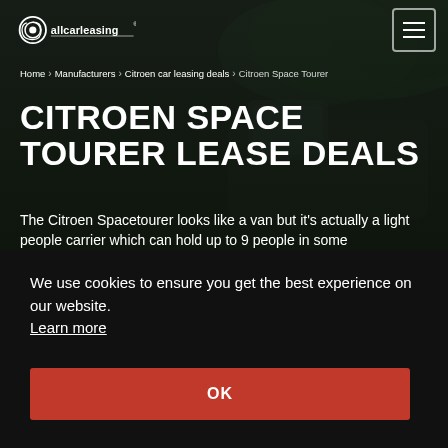allcarleasing logo and navigation menu
Home > Manufacturers > Citroen car leasing deals > Citroen Space Tourer
CITROEN SPACE TOURER LEASE DEALS
The Citroen Spacetourer looks like a van but it's actually a light people carrier which can hold up to 9 people in some configurations! If you've got a very
We use cookies to ensure you get the best experience on our website.
Learn more
OK